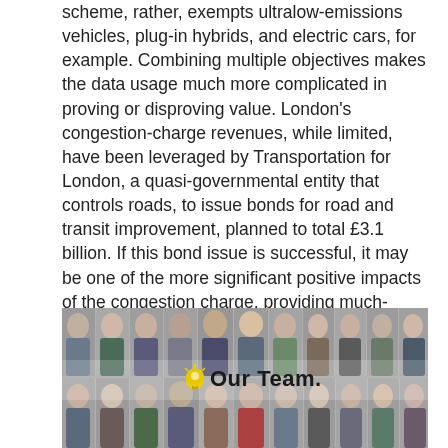scheme, rather, exempts ultralow-emissions vehicles, plug-in hybrids, and electric cars, for example. Combining multiple objectives makes the data usage much more complicated in proving or disproving value. London’s congestion-charge revenues, while limited, have been leveraged by Transportation for London, a quasi-governmental entity that controls roads, to issue bonds for road and transit improvement, planned to total £3.1 billion. If this bond issue is successful, it may be one of the more significant positive impacts of the congestion charge, providing much-needed cash to develop the city while tax revenues and government expenditures continue to shrink.
[Figure (photo): Group photo of a team of approximately 20 professionals arranged in two rows, with a 'Our Team.' label overlay in the center featuring a lightbulb icon.]